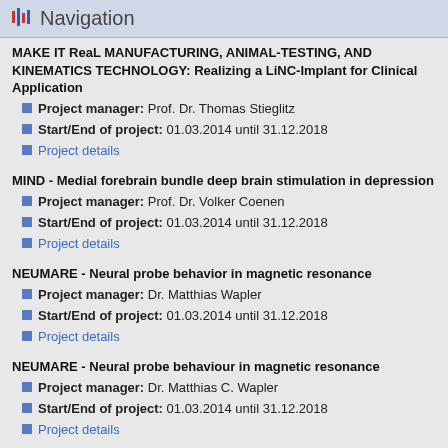Navigation
MAKE IT ReaL MANUFACTURING, ANIMAL-TESTING, AND KINEMATICS TECHNOLOGY: Realizing a LiNC-Implant for Clinical Application
Project manager: Prof. Dr. Thomas Stieglitz
Start/End of project: 01.03.2014 until 31.12.2018
Project details
MIND - Medial forebrain bundle deep brain stimulation in depression
Project manager: Prof. Dr. Volker Coenen
Start/End of project: 01.03.2014 until 31.12.2018
Project details
NEUMARE - Neural probe behavior in magnetic resonance
Project manager: Dr. Matthias Wapler
Start/End of project: 01.03.2014 until 31.12.2018
Project details
NEUMARE - Neural probe behaviour in magnetic resonance
Project manager: Dr. Matthias C. Wapler
Start/End of project: 01.03.2014 until 31.12.2018
Project details